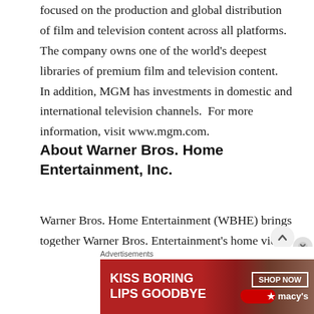focused on the production and global distribution of film and television content across all platforms. The company owns one of the world's deepest libraries of premium film and television content.  In addition, MGM has investments in domestic and international television channels.  For more information, visit www.mgm.com.
About Warner Bros. Home Entertainment, Inc.
Warner Bros. Home Entertainment (WBHE) brings together Warner Bros. Entertainment's home video, digital distribution and interactive entertainment businesses in order to maximize current and next-generation distribution scenarios. An industry leader since its
Advertisements
[Figure (illustration): Red advertisement banner for Macy's featuring text 'KISS BORING LIPS GOODBYE' with a woman's face showing red lips, and a 'SHOP NOW' button with the Macy's star logo]